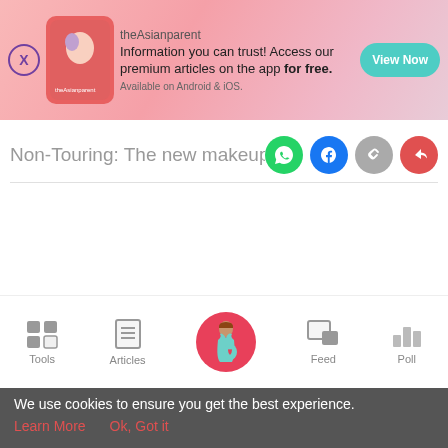[Figure (screenshot): theAsianparent app advertisement banner with logo, text, and View Now button on pink background]
Non-Touring: The new makeup trend
[Figure (infographic): Bottom navigation bar with Tools, Articles, home (pregnant woman icon), Feed, and Poll icons]
We use cookies to ensure you get the best experience.
Learn More   Ok, Got it